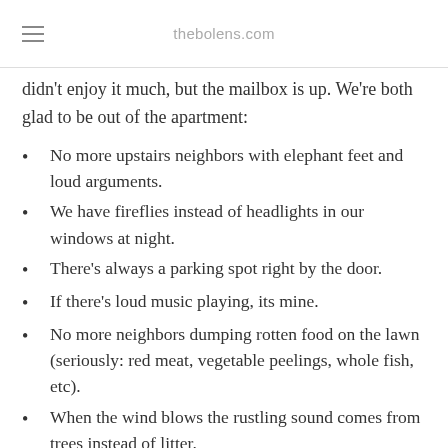thebolens.com
didn't enjoy it much, but the mailbox is up. We're both glad to be out of the apartment:
No more upstairs neighbors with elephant feet and loud arguments.
We have fireflies instead of headlights in our windows at night.
There's always a parking spot right by the door.
If there's loud music playing, its mine.
No more neighbors dumping rotten food on the lawn (seriously: red meat, vegetable peelings, whole fish, etc).
When the wind blows the rustling sound comes from trees instead of litter.